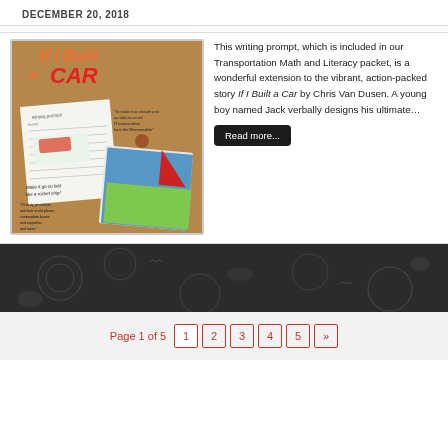DECEMBER 20, 2018
[Figure (photo): Photo of 'If I Built a Car' book cover and a student writing prompt worksheet on a brown background, with the book title displayed in colorful lettering.]
This writing prompt, which is included in our Transportation Math and Literacy packet, is a wonderful extension to the vibrant, action-packed story If I Built a Car by Chris Van Dusen. A young boy named Jack verbally designs his ultimate…
Read more...
Page 1 of 5  1  2  3  4  5  »